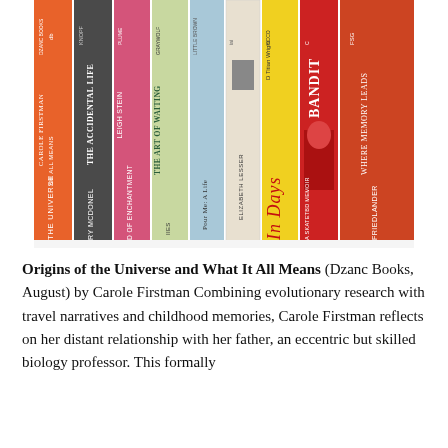[Figure (photo): A row of book spines arranged side by side showing various titles including: Origins of the Universe and What It All Means by Carole Firstman (Dzanc Books), The Accidental Life by Terry McDonell (Knopf), The Art of Enchantment by Leigh Stein, The Art of Waiting, Pour Me: A Life, Elizabeth Lesser, In Days by Titian Wright, Bandit (a skateboarding memoir), and Where Memory Leads by Friedlander.]
Origins of the Universe and What It All Means (Dzanc Books, August) by Carole Firstman Combining evolutionary research with travel narratives and childhood memories, Carole Firstman reflects on her distant relationship with her father, an eccentric but skilled biology professor. This formally